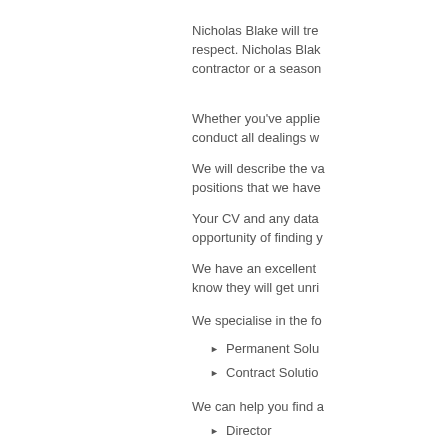Nicholas Blake will treat you and your application with the utmost respect. Nicholas Blake understands that whether you're a contractor or a seasoned…
Whether you've applied for a role or posted a job vacancy, we conduct all dealings with…
We will describe the vacancies accurately and honestly. All positions that we have…
Your CV and any data provided will be used to maximise your opportunity of finding y…
We have an excellent reputation with our clients and candidates know they will get unri…
We specialise in the fo…
Permanent Solu…
Contract Solutio…
We can help you find a…
Director
Programme Ma…
Project Manager…
Business Analys…
Functional Cons…
Technical Archit…
Designer
Technical Cons…